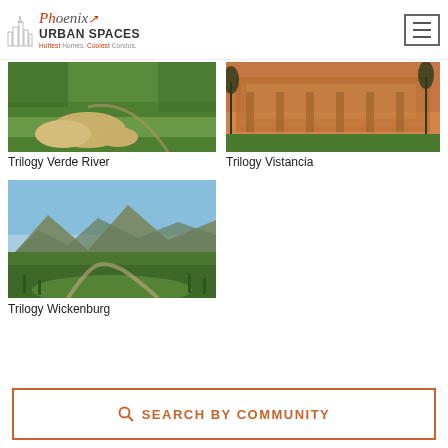Phoenix Urban Spaces – Hottest Homes. Coolest Condos.
[Figure (photo): Aerial view of Trilogy Verde River golf course with sand bunkers and green fairway]
Trilogy Verde River
[Figure (photo): Exterior view of Trilogy Vistancia clubhouse at dusk with palm trees and green lawn]
Trilogy Vistancia
[Figure (photo): Desert golf course landscape at Trilogy Wickenburg Ranch with mountains in background]
Trilogy Wickenburg
SEARCH BY COMMUNITY